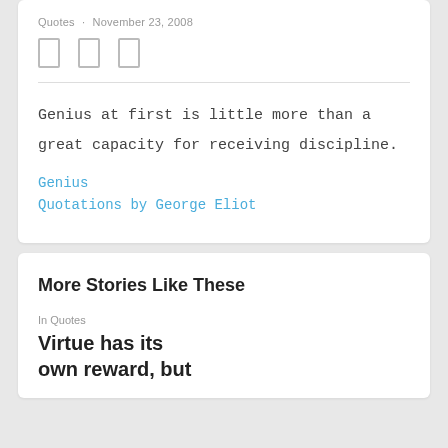Quotes · November 23, 2008
Genius at first is little more than a great capacity for receiving discipline.
Genius
Quotations by George Eliot
More Stories Like These
In Quotes
Virtue has its own reward, but